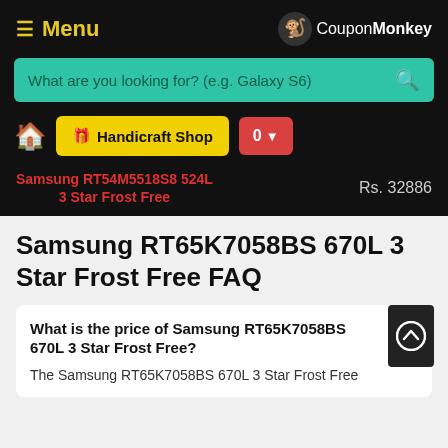Menu | CouponMonkey
What are you looking for? (e.g. Galaxy S6)
🏠 Handicraft Shop | 0
Samsung RT54M5518S8 524L 3 Star Frost Free
Rs. 32886
Samsung RT65K7058BS 670L 3 Star Frost Free FAQ
What is the price of Samsung RT65K7058BS 670L 3 Star Frost Free?
The Samsung RT65K7058BS 670L 3 Star Frost Free